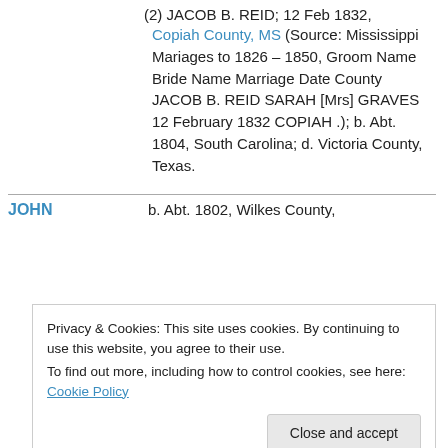(2) JACOB B. REID; 12 Feb 1832, Copiah County, MS (Source: Mississippi Mariages to 1826 – 1850, Groom Name Bride Name Marriage Date County JACOB B. REID SARAH [Mrs] GRAVES 12 February 1832 COPIAH .); b. Abt. 1804, South Carolina; d. Victoria County, Texas.
JOHN    b. Abt. 1802, Wilkes County,
Privacy & Cookies: This site uses cookies. By continuing to use this website, you agree to their use.
To find out more, including how to control cookies, see here: Cookie Policy